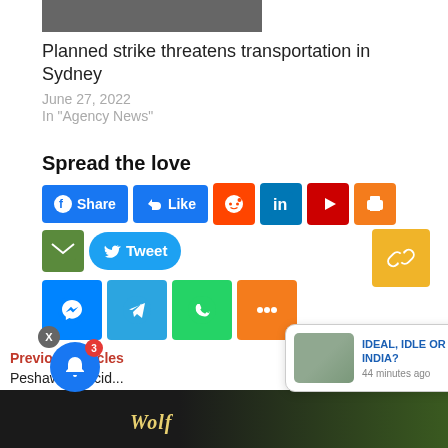[Figure (photo): Partial top image of a street scene]
Planned strike threatens transportation in Sydney
June 27, 2022
In "Agency News"
Spread the love
[Figure (infographic): Social media share buttons: Facebook Share, Facebook Like, Reddit, LinkedIn, YouTube, Print, Email, Tweet, Link, Messenger, Telegram, WhatsApp, More]
Previous Articles
Next Article
Peshawar suicid...
[Figure (screenshot): Notification popup showing article: IDEAL, IDLE OR IDOL INDIA? - 44 minutes ago]
[Figure (photo): Bottom strip with partial image and Wolf text]